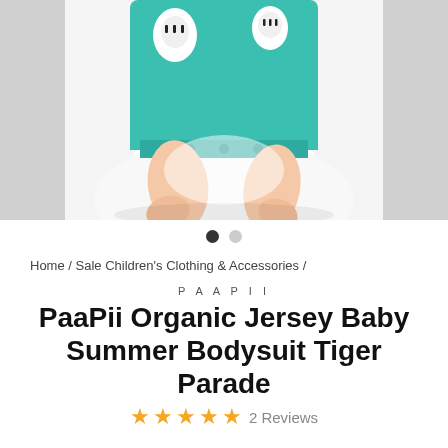[Figure (photo): Baby wearing a teal/turquoise organic cotton bodysuit with white tiger print pattern, lying on white fabric. Only the lower body and baby legs are visible.]
Home / Sale Children's Clothing & Accessories /
PAAPII
PaaPii Organic Jersey Baby Summer Bodysuit Tiger Parade
★★★★★ 2 Reviews